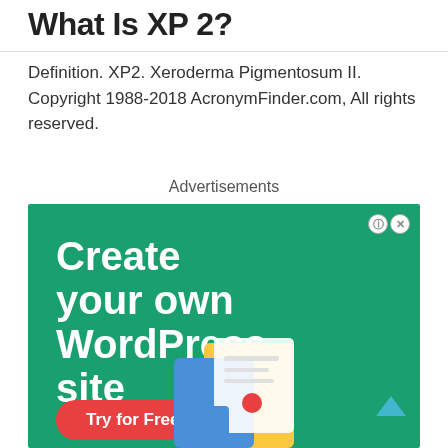What Is XP 2?
Definition. XP2. Xeroderma Pigmentosum II. Copyright 1988-2018 AcronymFinder.com, All rights reserved.
Advertisements
[Figure (illustration): Green advertisement banner for WordPress site creation with headline 'Create your own WordPress site', a red 'Try for Free' button, info and close icons in top right corner, and illustrated graphic of a website/document in the lower right.]